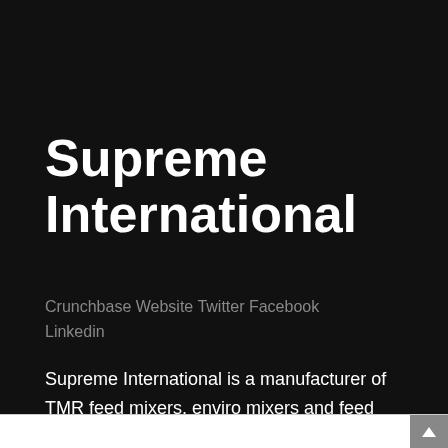Supreme International
Crunchbase Website Twitter Facebook Linkedin
Supreme International is a manufacturer of TMR feed mixers, enviro mixers and feed delivery products.